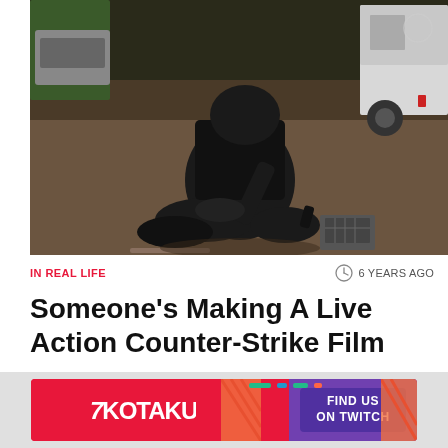[Figure (photo): A person in black tactical gear kneeling on a concrete floor, appearing to examine or place an object (a small device) on the ground. A white vehicle is partially visible in the background.]
IN REAL LIFE
6 YEARS AGO
Someone's Making A Live Action Counter-Strike Film
Alex Walker | 1
[Figure (logo): Kotaku advertisement banner with 'KOTAKU' logo on the left and 'FIND US ON TWITCH' button on the right, pink/red background with diagonal stripe decorations.]